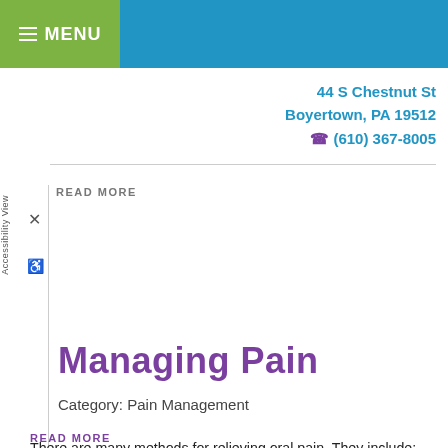MENU
44 S Chestnut St
Boyertown, PA 19512
(610) 367-8005
READ MORE
Managing Pain
Category: Pain Management
There are many methods for relieving oral pain. They include: Ice packs on the affected area. Avoiding hard candy or ice. Avoiding sleeping on your stomach. Dentists use a wide array of pain management tools, including: Anesthetics such as Novocaine. Analgesics such as aspirin
READ MORE